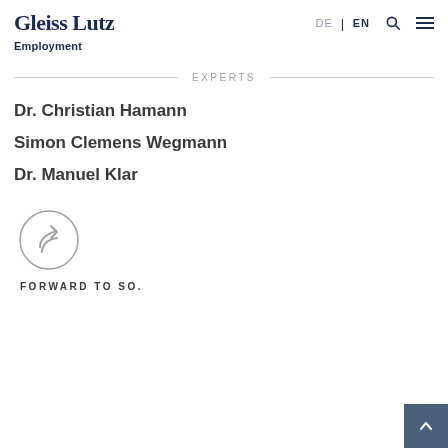Gleiss Lutz
Employment
EXPERTS
Dr. Christian Hamann
Simon Clemens Wegmann
Dr. Manuel Klar
[Figure (illustration): Share/forward icon inside a circle]
FORWARD TO SO.